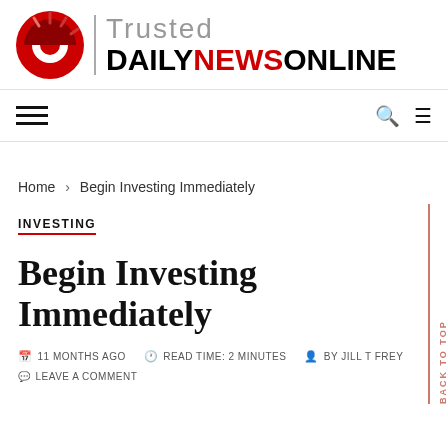[Figure (logo): Trusted Daily News Online logo with red circular sun icon and text]
Navigation bar with hamburger menu, search icon, and menu icon
Home › Begin Investing Immediately
INVESTING
Begin Investing Immediately
11 MONTHS AGO   READ TIME: 2 MINUTES   BY JILL T FREY
LEAVE A COMMENT